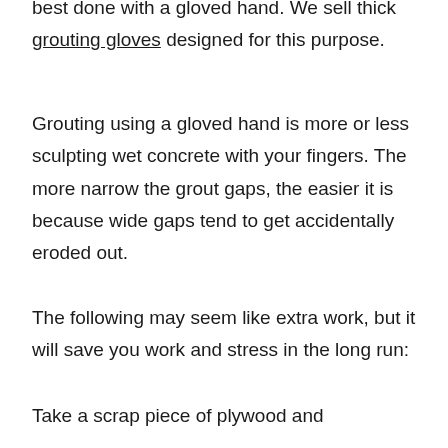best done with a gloved hand. We sell thick grouting gloves designed for this purpose.
Grouting using a gloved hand is more or less sculpting wet concrete with your fingers. The more narrow the grout gaps, the easier it is because wide gaps tend to get accidentally eroded out.
The following may seem like extra work, but it will save you work and stress in the long run:
Take a scrap piece of plywood and